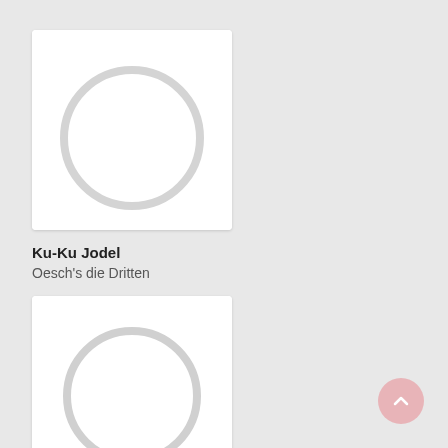[Figure (illustration): Album art placeholder card (white square with rounded corners) containing a light gray circle outline in the center, representing a music album cover placeholder]
Ku-Ku Jodel
Oesch's die Dritten
[Figure (illustration): Second album art placeholder card (white rectangle with rounded corners) containing a light gray circle outline in the center, partially visible at bottom of page]
[Figure (illustration): Back-to-top button: pink/rose circular button with upward chevron arrow in the bottom-right corner]